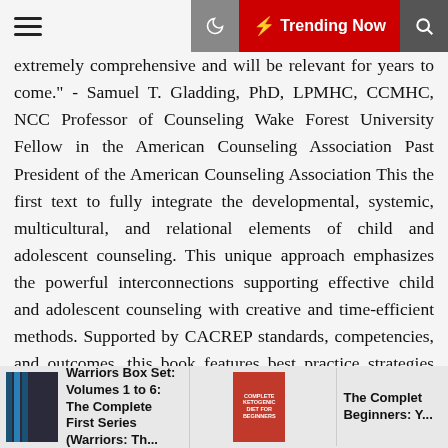Trending Now
extremely comprehensive and will be relevant for years to come." - Samuel T. Gladding, PhD, LPMHC, CCMHC, NCC Professor of Counseling Wake Forest University Fellow in the American Counseling Association Past President of the American Counseling Association This the first text to fully integrate the developmental, systemic, multicultural, and relational elements of child and adolescent counseling. This unique approach emphasizes the powerful interconnections supporting effective child and adolescent counseling with creative and time-efficient methods. Supported by CACREP standards, competencies, and outcomes, this book features best practice strategies and techniques to aid counselors-in-training who will be assisting children, adolescents, and their families in developing transformative coping methods while navigating contemporary issues. This textbook is distinguished by its broad and holistic focus as a means of increasing counseling efficacy and applies to a range of therapeutic modalities. The text advocates for a multisensory
Warriors Box Set: Volumes 1 to 6: The Complete First Series (Warriors: Th...
The Complet Beginners: Y...